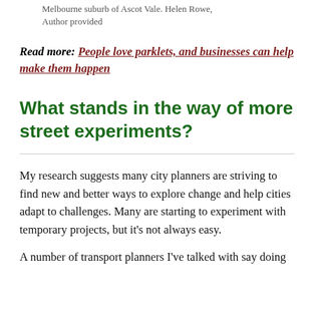Melbourne suburb of Ascot Vale. Helen Rowe, Author provided
Read more: People love parklets, and businesses can help make them happen
What stands in the way of more street experiments?
My research suggests many city planners are striving to find new and better ways to explore change and help cities adapt to challenges. Many are starting to experiment with temporary projects, but it's not always easy.
A number of transport planners I've talked with say doing